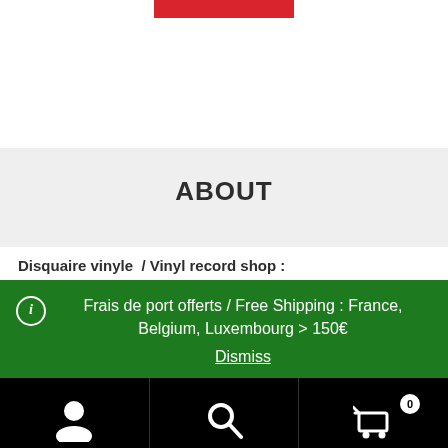[Figure (other): Red banner/button at the top of the page]
ABOUT
Disquaire vinyle / Vinyl record shop :
Frais de port offerts / Free Shipping : France, Belgium, Luxembourg > 150€
Dismiss
[Figure (other): Bottom navigation bar with user icon, search icon, and cart icon with badge showing 0]